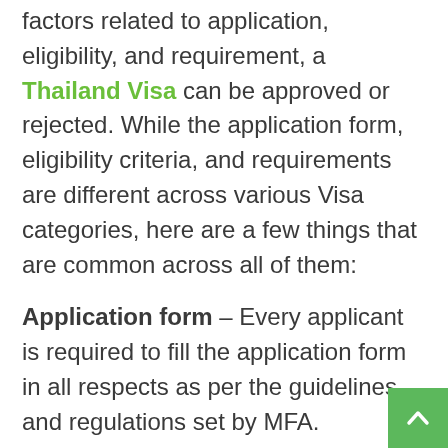factors related to application, eligibility, and requirement, a Thailand Visa can be approved or rejected. While the application form, eligibility criteria, and requirements are different across various Visa categories, here are a few things that are common across all of them:
Application form – Every applicant is required to fill the application form in all respects as per the guidelines and regulations set by MFA.
Photograph – Every applicant is expected to provide a passport-sized photograph of himself/herself attached to the application form.